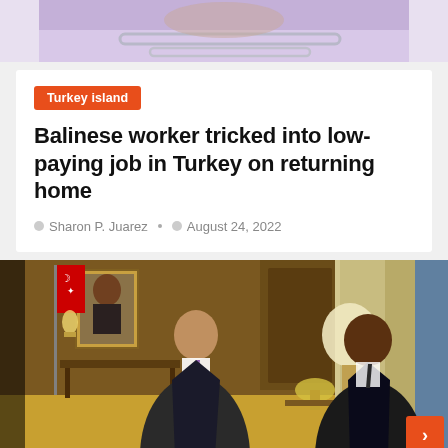[Figure (photo): Top portion of a photo showing a person in a hospital bed with purple/lavender tones and a bed rail visible at the bottom]
Turkey island
Balinese worker tricked into low-paying job in Turkey on returning home
Sharon P. Juarez   August 24, 2022
[Figure (photo): Two men in suits seated in an ornate office room. Turkish flag and portrait on the left wall. Lamps and decorative furnishings visible. An orange scroll-to-top button appears in the bottom right corner.]